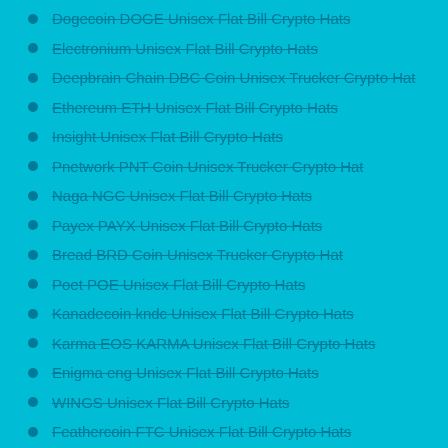Dogecoin DOGE Unisex Flat Bill Crypto Hats
Electronium Unisex Flat Bill Crypto Hats
Deepbrain Chain DBC Coin Unisex Trucker Crypto Hat
Ethereum ETH Unisex Flat Bill Crypto Hats
Insight Unisex Flat Bill Crypto Hats
Pnetwork PNT Coin Unisex Trucker Crypto Hat
Naga NGC Unisex Flat Bill Crypto Hats
Payex PAYX Unisex Flat Bill Crypto Hats
Bread BRD Coin Unisex Trucker Crypto Hat
Poet POE Unisex Flat Bill Crypto Hats
Kanadecoin kndc Unisex Flat Bill Crypto Hats
Karma EOS KARMA Unisex Flat Bill Crypto Hats
Enigma eng Unisex Flat Bill Crypto Hats
WINGS Unisex Flat Bill Crypto Hats
Feathercoin FTC Unisex Flat Bill Crypto Hats
Hakko Finance hakko Unisex Flat Bill Crypto Hats
Gamecredits GAME Coin Unisex Trucker Crypto Hat